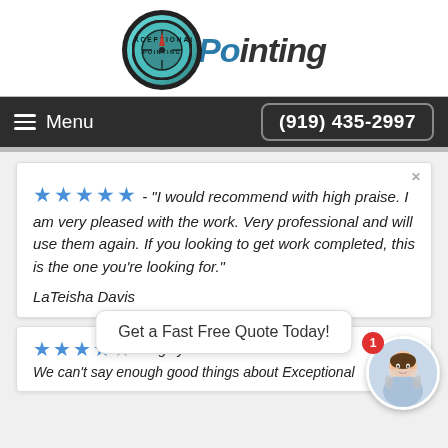[Figure (logo): Exceptional Pointing logo with teal compass/seal circle and italic text 'Pointing']
Menu  (919) 435-2997
★★★★★ - "I would recommend with high praise. I am very pleased with the work. Very professional and will use them again. If you looking to get work completed, this is the one you're looking for."
LaTeisha Davis
Get a Fast Free Quote Today!
★★★★☆ - Highly Recommend!! We can't say enough good things about Exceptional